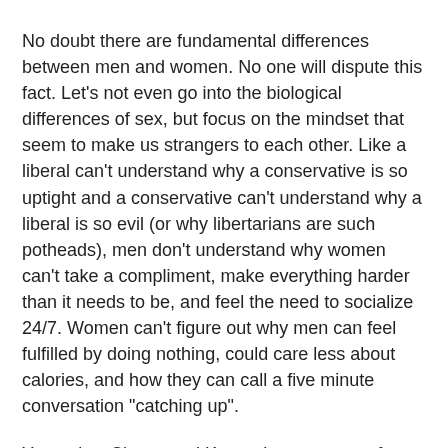No doubt there are fundamental differences between men and women. No one will dispute this fact. Let's not even go into the biological differences of sex, but focus on the mindset that seem to make us strangers to each other. Like a liberal can't understand why a conservative is so uptight and a conservative can't understand why a liberal is so evil (or why libertarians are such potheads), men don't understand why women can't take a compliment, make everything harder than it needs to be, and feel the need to socialize 24/7. Women can't figure out why men can feel fulfilled by doing nothing, could care less about calories, and how they can call a five minute conversation "catching up".
Yesterday, Clancy and Krytondra came over for an Oscars party. Clancy stayed over all afternoon and brought his Kinect so we could all play. I got so into the sports games that I shut out the rest of the room and almost didn't even notice when Clancy and Brandon left the apartment to go pick up snacks and drinks. Brandon had to call my name 2 or 3 times before he got me to answer his question of, "Do